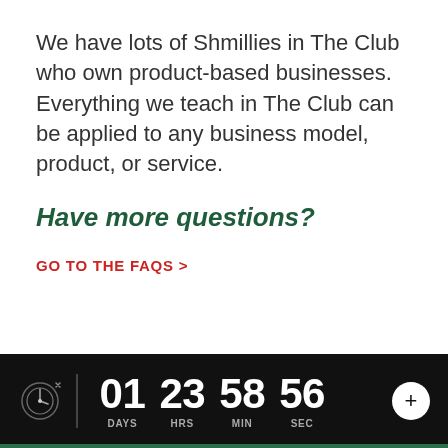We have lots of Shmillies in The Club who own product-based businesses. Everything we teach in The Club can be applied to any business model, product, or service.
Have more questions?
GO TO THE FAQS >
[Figure (infographic): Countdown timer bar on dark background showing 01 DAYS, 23 HRS, 58 MIN, 56 SEC with a target/clock icon on the left and a plus (+) button on the right.]